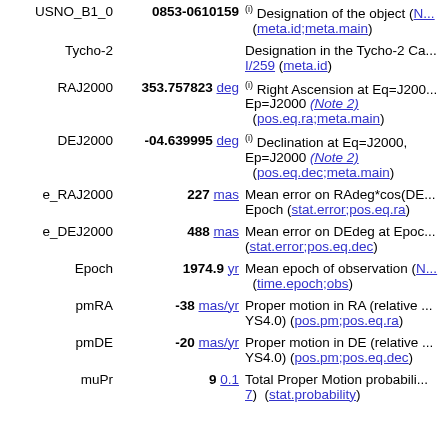| Name | Value | Description |
| --- | --- | --- |
| USNO_B1_0 | 0853-0610159 | (i) Designation of the object (meta.id;meta.main) |
| Tycho-2 |  | Designation in the Tycho-2 Catalogue I/259 (meta.id) |
| RAJ2000 | 353.757823 deg | (i) Right Ascension at Eq=J2000, Ep=J2000 (Note 2) (pos.eq.ra;meta.main) |
| DEJ2000 | -04.639995 deg | (i) Declination at Eq=J2000, Ep=J2000 (Note 2) (pos.eq.dec;meta.main) |
| e_RAJ2000 | 227 mas | Mean error on RAdeg*cos(DE) at Epoch (stat.error;pos.eq.ra) |
| e_DEJ2000 | 488 mas | Mean error on DEdeg at Epoch (stat.error;pos.eq.dec) |
| Epoch | 1974.9 yr | Mean epoch of observation (time.epoch;obs) |
| pmRA | -38 mas/yr | Proper motion in RA (relative to YS4.0) (pos.pm;pos.eq.ra) |
| pmDE | -20 mas/yr | Proper motion in DE (relative to YS4.0) (pos.pm;pos.eq.dec) |
| muPr | 9 0.1 | Total Proper Motion probability (stat.probability) |